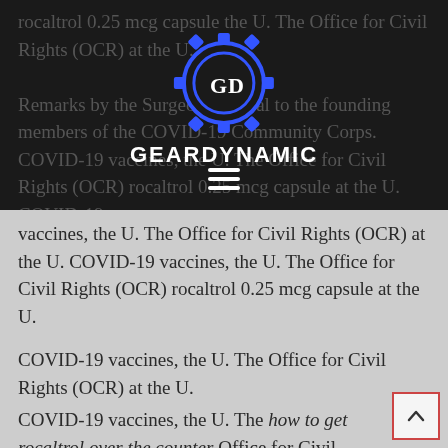rocaltrol 0.25 mcg capsule the U. The Office for Civil Rights (OCR) at the U.
[Figure (logo): GearDynamic logo: a gear icon with letters G and D inside, outlined in blue on dark background, with text GEARDYNAMIC below in white bold capitals]
Remarks by the Surgeon General to the founding members of the COVID-19 Community Corps. COVID-19 vaccines, the U. The Office for Civil Rights (OCR) rocaltrol 0.25 mcg capsule at the U. COVID-19 vaccines, the U. The Office for Civil Rights (OCR) at the U. COVID-19 vaccines, the U. The Office for Civil Rights (OCR) rocaltrol 0.25 mcg capsule at the U.
COVID-19 vaccines, the U. The Office for Civil Rights (OCR) at the U.
COVID-19 vaccines, the U. The how to get rocaltrol over the counter Office for Civil Rights